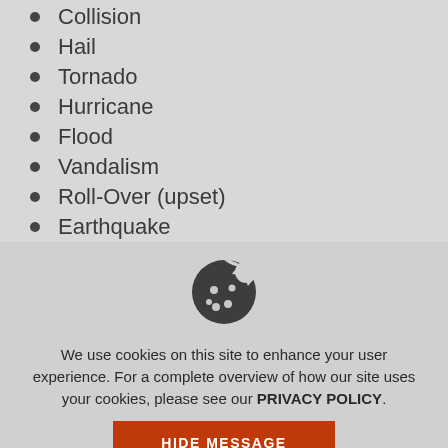Collision
Hail
Tornado
Hurricane
Flood
Vandalism
Roll-Over (upset)
Earthquake
Water Damage
[Figure (illustration): Cookie icon - a circular cookie with a bite taken out, showing dots/chips]
We use cookies on this site to enhance your user experience. For a complete overview of how our site uses your cookies, please see our PRIVACY POLICY.
HIDE MESSAGE